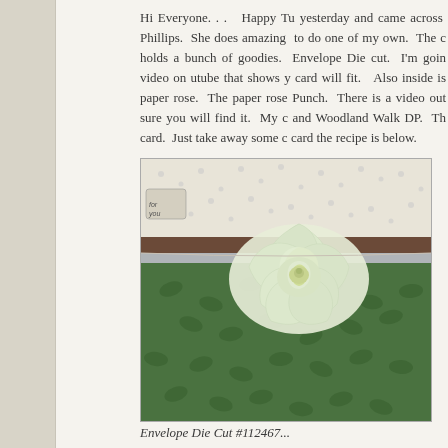Hi Everyone. . .  Happy Tu yesterday and came across  Phillips.  She does amazing  to do one of my own.  The c holds a bunch of goodies.  Envelope Die cut.  I'm goin video on utube that shows y card will fit.  Also inside is paper rose.  The paper rose Punch.  There is a video out sure you will find it.  My c and Woodland Walk DP.  Th card.  Just take away some c card the recipe is below.
[Figure (photo): A handmade card featuring a large cream/white paper rose flower on a green and white patterned background with decorative ribbon and lace trim. The card has woodland walk designer paper with green leaf patterns.]
Envelope Die Cut #112467...